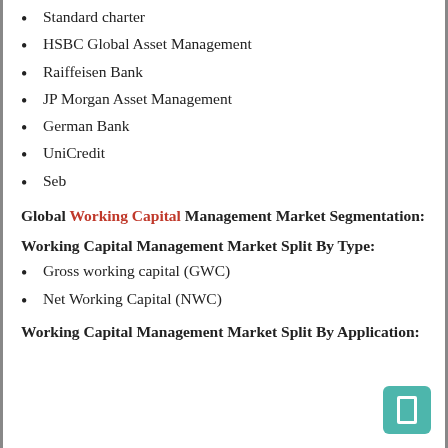Standard charter
HSBC Global Asset Management
Raiffeisen Bank
JP Morgan Asset Management
German Bank
UniCredit
Seb
Global Working Capital Management Market Segmentation:
Working Capital Management Market Split By Type:
Gross working capital (GWC)
Net Working Capital (NWC)
Working Capital Management Market Split By Application: